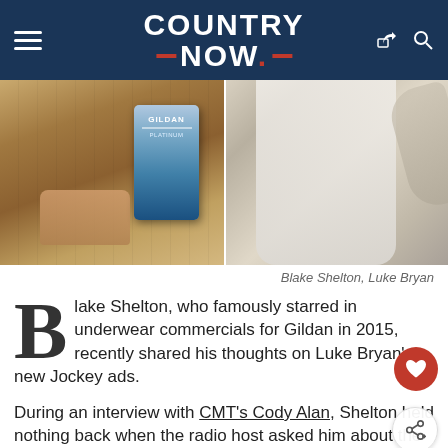COUNTRY NOW
[Figure (photo): Split image showing Blake Shelton holding a Gildan underwear package (left) and Luke Bryan in a white t-shirt (right)]
Blake Shelton, Luke Bryan
Blake Shelton, who famously starred in underwear commercials for Gildan in 2015, recently shared his thoughts on Luke Bryan's new Jockey ads.
During an interview with CMT's Cody Alan, Shelton held nothing back when the radio host asked him about the ads.